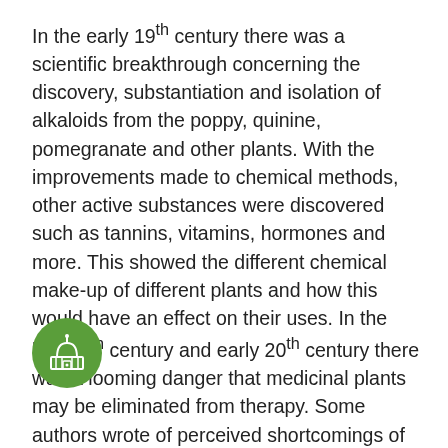In the early 19th century there was a scientific breakthrough concerning the discovery, substantiation and isolation of alkaloids from the poppy, quinine, pomegranate and other plants. With the improvements made to chemical methods, other active substances were discovered such as tannins, vitamins, hormones and more. This showed the different chemical make-up of different plants and how this would have an effect on their uses. In the late 19th century and early 20th century there was a looming danger that medicinal plants may be eliminated from therapy. Some authors wrote of perceived shortcomings of drugs obtained from plants, due to enzymes and their destructive action during the drying of medicinal plants, noting that healing action may depend on the mode of drying.At the turn of the 21st century, 11% of the World Health Organisation's list of 252 drugs considered 'basic and essential' were exclusively of flowering plant origin, which shows the use of herbal
[Figure (illustration): Green circle icon with a building/institution symbol (white line art of a domed building) overlaid on the text paragraph]